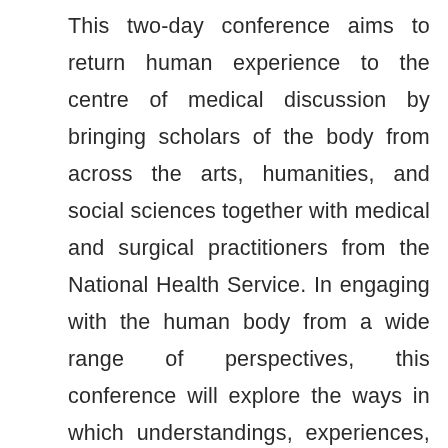This two-day conference aims to return human experience to the centre of medical discussion by bringing scholars of the body from across the arts, humanities, and social sciences together with medical and surgical practitioners from the National Health Service. In engaging with the human body from a wide range of perspectives, this conference will explore the ways in which understandings, experiences, and representations of the body beyond the traditional medical sphere might inform healing and healthcare. This interdisciplinary conference will be the first of its kind ever held at Addenbrooke's Hospital,